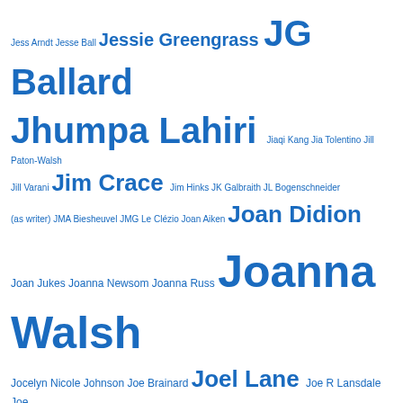[Figure (infographic): Tag cloud of author names in blue, with font size proportional to frequency/importance. Names include JG Ballard, Jhumpa Lahiri, Jim Crace, Joan Didion, Joanna Walsh, Joel Lane, John Cheever, John Haskell, John McGahern, John Updike, Jon McGregor, Jorge Luis Borges, Joy Williams and many others.]